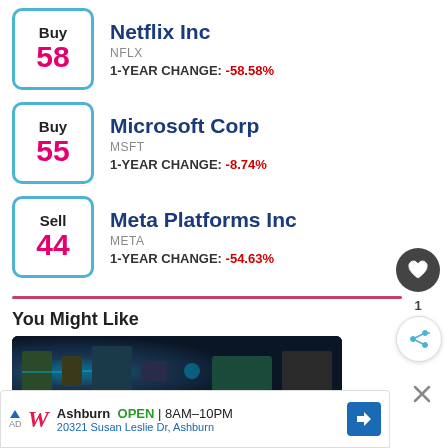[Figure (infographic): Stock rating box: Buy 58 with blue border, for Netflix Inc]
Netflix Inc | NFLX | 1-YEAR CHANGE: -58.58%
[Figure (infographic): Stock rating box: Buy 55 with blue border, for Microsoft Corp]
Microsoft Corp | MSFT | 1-YEAR CHANGE: -8.74%
[Figure (infographic): Stock rating box: Sell 44 with blue border, for Meta Platforms Inc]
Meta Platforms Inc | META | 1-YEAR CHANGE: -54.63%
You Might Like
[Figure (photo): Partial preview image of a technology/circuit board article]
Ad: Ashburn OPEN 8AM-10PM 20321 Susan Leslie Dr, Ashburn